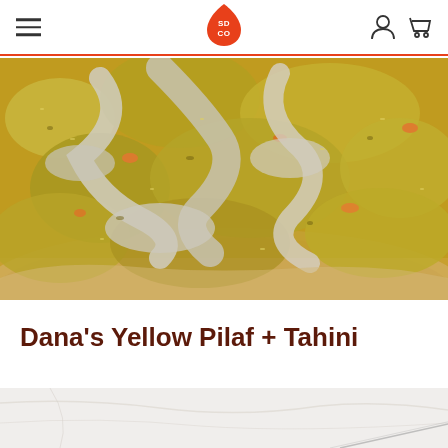SOCO [logo] navigation header with hamburger menu, logo, user icon, cart icon
[Figure (photo): Close-up photo of Dana's Yellow Pilaf with Tahini sauce drizzled over a grain dish with vegetables in a wooden bowl]
Dana's Yellow Pilaf + Tahini
[Figure (photo): Partial view of marble surface with glass or bowl visible, bottom of page]